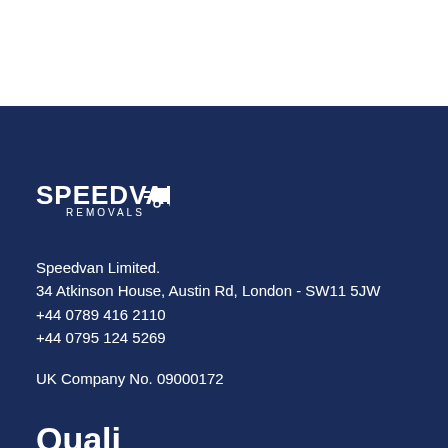[Figure (logo): Speedvan Removals logo with van icon in white on dark blue background]
Speedvan Limited.
34 Atkinson House, Austin Rd, London - SW11 5JW
+44 0789 416 2110
+44 0795 124 5269
UK Company No. 09000172
Quali...